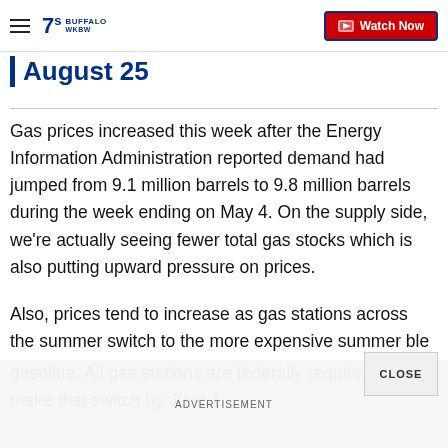7 BUFFALO | Watch Now
August 25
Gas prices increased this week after the Energy Information Administration reported demand had jumped from 9.1 million barrels to 9.8 million barrels during the week ending on May 4. On the supply side, we're actually seeing fewer total gas stocks which is also putting upward pressure on prices.
Also, prices tend to increase as gas stations across the summer switch to the more expensive summer blend gasoline. All gas stations are federally required to make that switch by June 1.